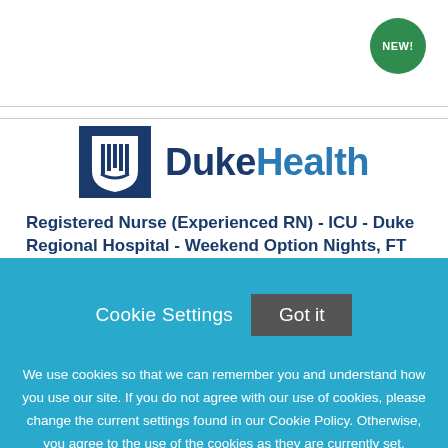[Figure (logo): Duke Health logo with shield icon and bold text]
Registered Nurse (Experienced RN) - ICU - Duke Regional Hospital - Weekend Option Nights, FT
Cookie Settings  Got it

We use cookies so that we can remember you and understand how you use our site. If you do not agree with our use of cookies, please change the current settings found in our Cookie Policy. Otherwise, you agree to the use of the cookies as they are currently set.